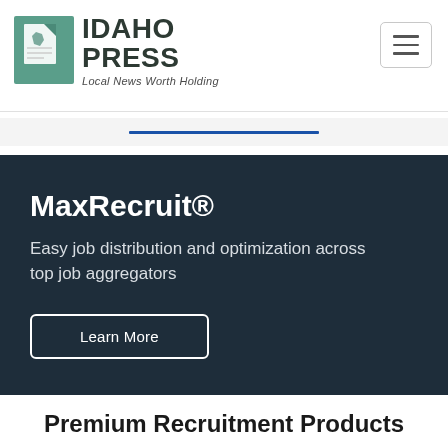[Figure (logo): Idaho Press logo with teal document icon and text 'IDAHO PRESS - Local News Worth Holding']
[Figure (other): Hamburger menu button (three horizontal lines) in a rounded rectangle border]
[Figure (other): Blue horizontal separator line on light gray background]
MaxRecruit®
Easy job distribution and optimization across top job aggregators
Learn More
Premium Recruitment Products